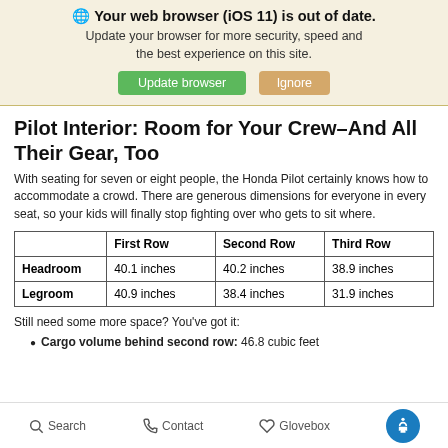🌐 Your web browser (iOS 11) is out of date. Update your browser for more security, speed and the best experience on this site. [Update browser] [Ignore]
Pilot Interior: Room for Your Crew–And All Their Gear, Too
With seating for seven or eight people, the Honda Pilot certainly knows how to accommodate a crowd. There are generous dimensions for everyone in every seat, so your kids will finally stop fighting over who gets to sit where.
|  | First Row | Second Row | Third Row |
| --- | --- | --- | --- |
| Headroom | 40.1 inches | 40.2 inches | 38.9 inches |
| Legroom | 40.9 inches | 38.4 inches | 31.9 inches |
Still need some more space? You've got it:
Cargo volume behind second row: 46.8 cubic feet
Search   Contact   Glovebox   [Accessibility]